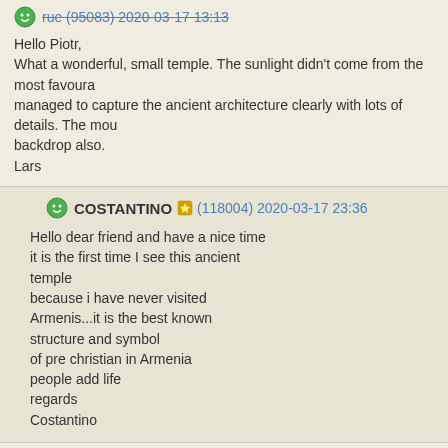Hello Piotr,
What a wonderful, small temple. The sunlight didn't come from the most favoura managed to capture the ancient architecture clearly with lots of details. The mou backdrop also.
Lars
COSTANTINO (118004) 2020-03-17 23:36
Hello dear friend and have a nice time
it is the first time I see this ancient
temple
because i have never visited
Armenis...it is the best known
structure and symbol
of pre christian in Armenia
people add life
regards
Costantino
macjake (98544) 2020-03-18 9:54
Hi Piotr
sometimes its all about the setting, and what a setting this is, it couldn't be more
how could we not. love the look of the Temple, almost having a Gothic Haunted
awesome. cheers